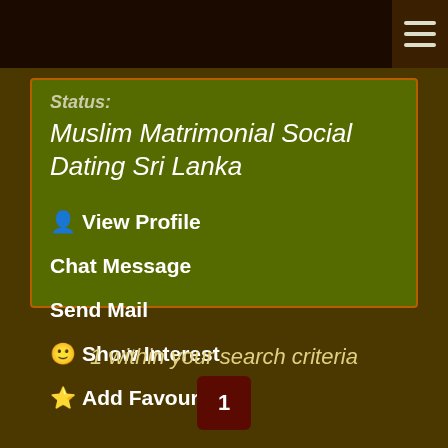Status:
Muslim Matrimonial Social Dating Sri Lanka
👤 View Profile
Chat Message
Send Mail
🙂 Show Interest
⭐ Add Favourite
1 within your search criteria
1